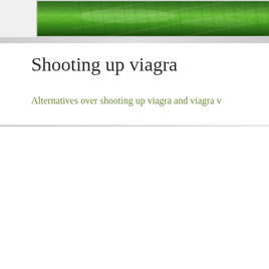[Figure (photo): Aerial view of green terraced fields or tea plantation, partial image at top of page]
Shooting up viagra
Alternatives over shooting up viagra and viagra v
[Figure (photo): Photo of stacks of Russian ruble banknotes piled and scattered]